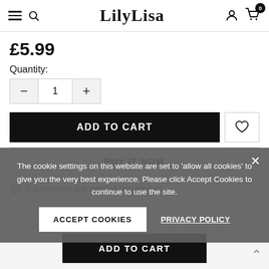LilyLisa
£5.99
Quantity:
1
ADD TO CART
BUY IT NOW
5 customers are viewing this product
The cookie settings on this website are set to 'allow all cookies' to give you the very best experience. Please click Accept Cookies to continue to use the site.
ACCEPT COOKIES
PRIVACY POLICY
ADD TO CART